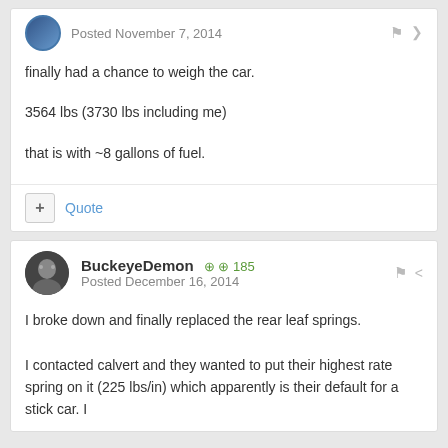Posted November 7, 2014
finally had a chance to weigh the car.
3564 lbs (3730 lbs including me)
that is with ~8 gallons of fuel.
BuckeyeDemon  185
Posted December 16, 2014
I broke down and finally replaced the rear leaf springs.
I contacted calvert and they wanted to put their highest rate spring on it (225 lbs/in) which apparently is their default for a stick car. I